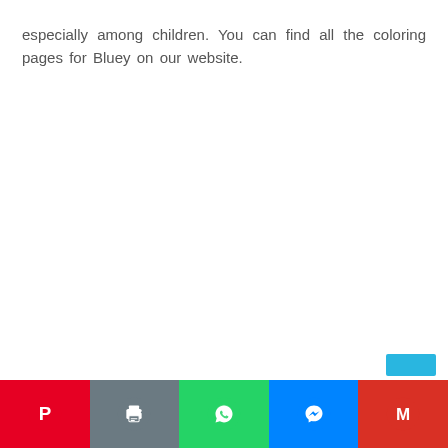especially among children. You can find all the coloring pages for Bluey on our website.
[Figure (infographic): Social sharing toolbar at the bottom with Pinterest (red), Print (grey), WhatsApp (green), Messenger (blue), Gmail (red) buttons. A small cyan/blue button appears above the bar on the right side.]